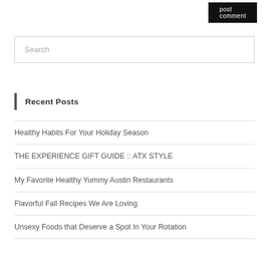post comment
Search
Recent Posts
Healthy Habits For Your Holiday Season
THE EXPERIENCE GIFT GUIDE :: ATX STYLE
My Favorite Healthy Yummy Austin Restaurants
Flavorful Fall Recipes We Are Loving
Unsexy Foods that Deserve a Spot In Your Rotation